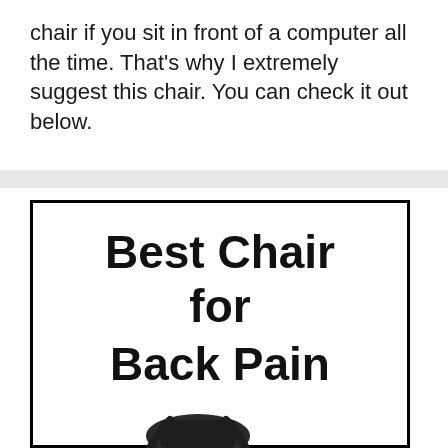chair if you sit in front of a computer all the time. That's why I extremely suggest this chair. You can check it out below.
[Figure (illustration): A framed image with bold text reading 'Best Chair for Back Pain' and a partial photo of a black office chair at the bottom.]